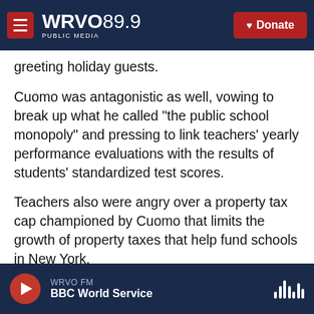WRVO 89.9 PUBLIC MEDIA | Donate
greeting holiday guests.
Cuomo was antagonistic as well, vowing to break up what he called "the public school monopoly" and pressing to link teachers' yearly performance evaluations with the results of students' standardized test scores.
Teachers also were angry over a property tax cap championed by Cuomo that limits the growth of property taxes that help fund schools in New York.
And that wasn't the first time he butted heads with the unions. In 2011, Cuomo's first year in office, he
WRVO FM — BBC World Service